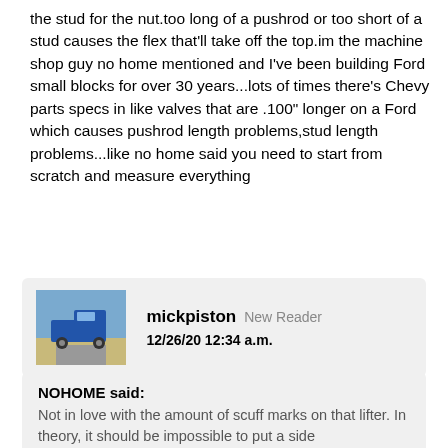the stud for the nut.too long of a pushrod or too short of a stud causes the flex that'll take off the top.im the machine shop guy no home mentioned and I've been building Ford small blocks for over 30 years...lots of times there's Chevy parts specs in like valves that are .100" longer on a Ford which causes pushrod length problems,stud length problems...like no home said you need to start from scratch and measure everything
[Figure (photo): Avatar image of a blue pickup truck on a road with open sky background]
mickpiston  New Reader
12/26/20 12:34 a.m.
NOHOME said:
Not in love with the amount of scuff marks on that lifter. In theory, it should be impossible to put a side load on a hydraulic lifter and have anything...